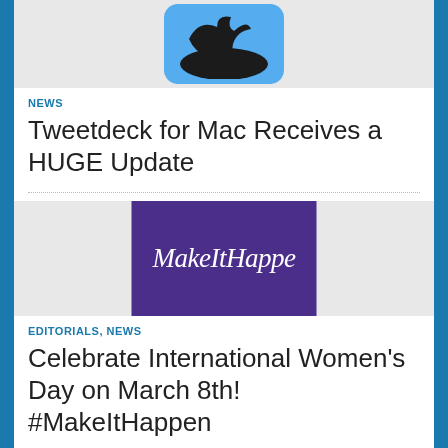[Figure (logo): Twitter bird logo icon on light blue rounded square background, partially cropped at top]
NEWS
Tweetdeck for Mac Receives a HUGE Update
[Figure (photo): Purple banner image with white italic text reading 'MakeItHappe' (partially cropped), partially cropped]
EDITORIALS, NEWS
Celebrate International Women's Day on March 8th! #MakeItHappen
1
2
3
...
6
»